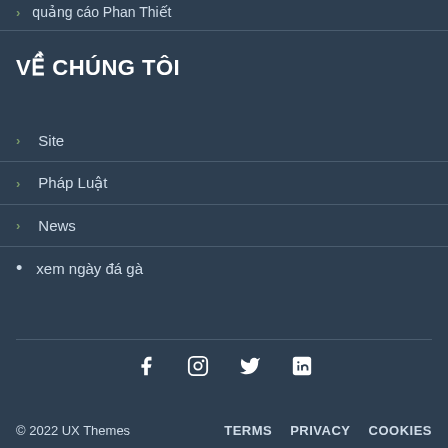quảng cáo Phan Thiết
VỀ CHÚNG TÔI
Site
Pháp Luật
News
xem ngày đá gà
[Figure (infographic): Social media icons: Facebook, Instagram, Twitter, LinkedIn]
© 2022 UX Themes   TERMS   PRIVACY   COOKIES